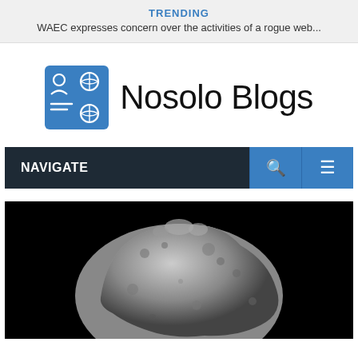TRENDING
WAEC expresses concern over the activities of a rogue web...
[Figure (logo): Nosolo Blogs logo with a blue icon depicting people and network nodes on the left, and 'Nosolo Blogs' text in large light font on the right]
NAVIGATE
[Figure (photo): Black and white photograph of an asteroid (Bennu) against a black background, showing a rocky, rough-surfaced irregular body]